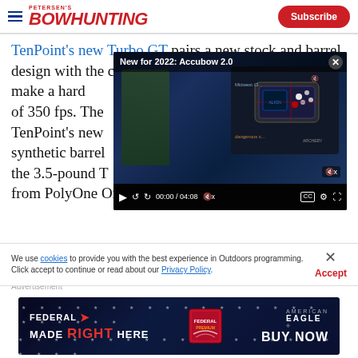Petersen's Bowhunting | Subscribe
TenPoint's new Turbo GT pairs a new stock and barrel design with the company's time-tested technologies to make a hard-hitting crossbow capable of 350 fps. The TenPoint's new synthetic barrel the 3.5-pound T from PolyOne OnForce polymer, the Fusion S stock
[Figure (screenshot): Video player overlay showing 'New for 2022: Accubow 2.0' with a person holding a crossbow device, video controls showing 00:00 / 04:08, with close button]
We use cookies to provide you with the best experience in Outdoors programming. Click accept to continue or read about our Privacy Policy.
[Figure (photo): Federal American Eagle advertisement banner: MADE RIGHT HERE - BUY NOW]